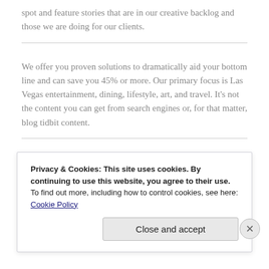spot and feature stories that are in our creative backlog and those we are doing for our clients.
We offer you proven solutions to dramatically aid your bottom line and can save you 45% or more. Our primary focus is Las Vegas entertainment, dining, lifestyle, art, and travel. It's not the content you can get from search engines or, for that matter, blog tidbit content.
Never are there costly subscriptions or extended commitments by using our services. On our website we've got a limited time special offer for a trial article so you can see what we can do for you. For more
Privacy & Cookies: This site uses cookies. By continuing to use this website, you agree to their use.
To find out more, including how to control cookies, see here: Cookie Policy